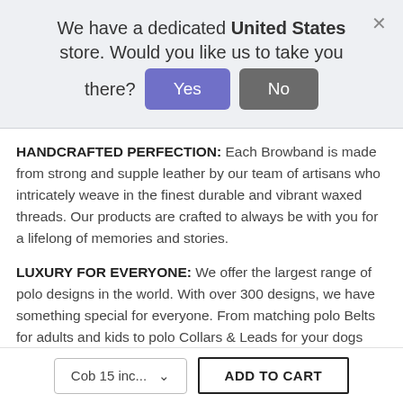We have a dedicated United States store. Would you like us to take you there?
HANDCRAFTED PERFECTION: Each Browband is made from strong and supple leather by our team of artisans who intricately weave in the finest durable and vibrant waxed threads. Our products are crafted to always be with you for a lifelong of memories and stories.
LUXURY FOR EVERYONE: We offer the largest range of polo designs in the world. With over 300 designs, we have something special for everyone. From matching polo Belts for adults and kids to polo Collars & Leads for your dogs and cats and even Horse Browbands! Our luxury
Cob 15 inc...
ADD TO CART